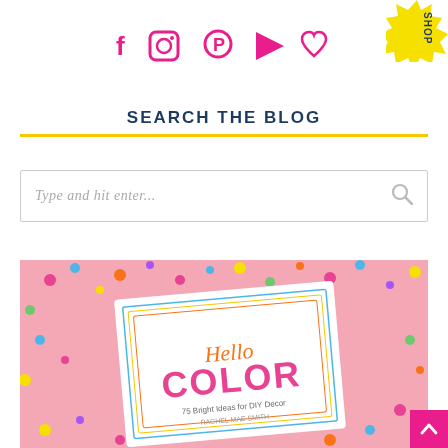[Figure (infographic): Social media icons row: Facebook, Instagram, Pinterest, YouTube, Heart/Bloglovin — in pink/magenta color]
[Figure (infographic): Yellow starburst badge with 'SHOP' text rotated, top-right corner]
SEARCH THE BLOG
[Figure (infographic): Search input box with placeholder text 'Type and hit enter...' and a magnifying glass icon]
[Figure (photo): Photo of 'Hello Color' book on pink background with colorful confetti scattered around]